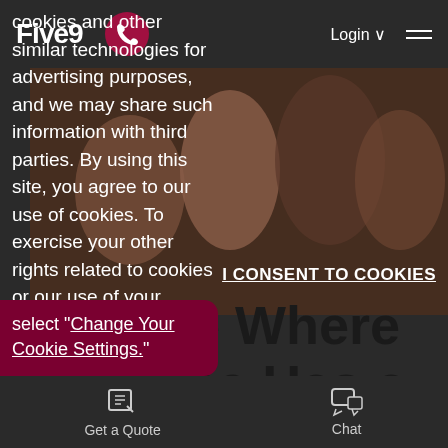Five9 — Login — navigation bar with phone button and hamburger menu
cookies and other similar technologies for advertising purposes, and we may share such information with third parties. By using this site, you agree to our use of cookies. To exercise your other rights related to cookies or our use of your information, select "Change Your Cookie Settings."
[Figure (photo): Group of young people sitting together on a couch, hero image for Five9 website]
I CONSENT TO COOKIES
The One Where Everyone Has a
Change Your Cookie Settings.
Get a Quote   Chat